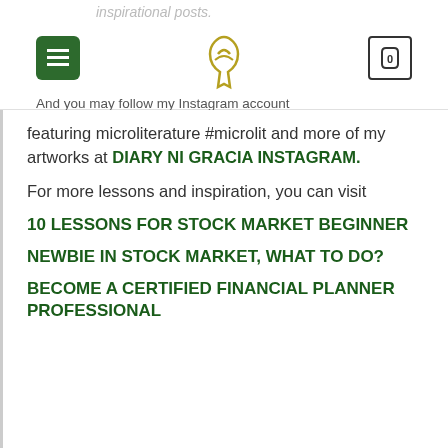inspirational posts.
And you may follow my Instagram account
featuring microliterature #microlit and more of my artworks at DIARY NI GRACIA INSTAGRAM.
For more lessons and inspiration, you can visit
10 LESSONS FOR STOCK MARKET BEGINNER
NEWBIE IN STOCK MARKET, WHAT TO DO?
BECOME A CERTIFIED FINANCIAL PLANNER PROFESSIONAL